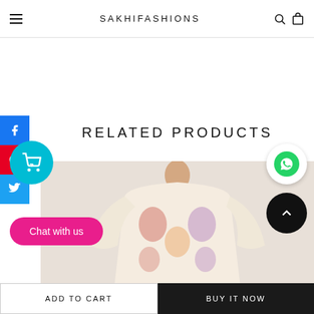SAKHIFASHIONS
RELATED PRODUCTS
[Figure (photo): A mannequin wearing a cream/white blouse/kurti with a colorful floral and elephant print pattern in red, pink, and blue, with short sleeves and a round neck.]
ADD TO CART
BUY IT NOW